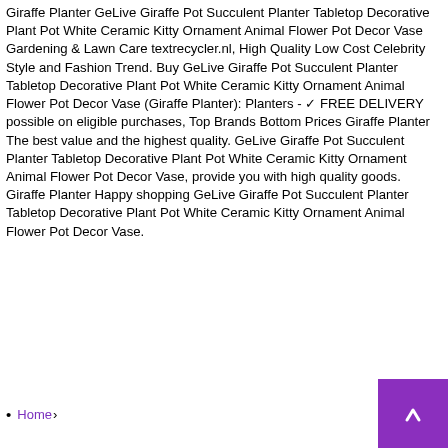Giraffe Planter GeLive Giraffe Pot Succulent Planter Tabletop Decorative Plant Pot White Ceramic Kitty Ornament Animal Flower Pot Decor Vase Gardening & Lawn Care textrecycler.nl, High Quality Low Cost Celebrity Style and Fashion Trend. Buy GeLive Giraffe Pot Succulent Planter Tabletop Decorative Plant Pot White Ceramic Kitty Ornament Animal Flower Pot Decor Vase (Giraffe Planter): Planters - ✓ FREE DELIVERY possible on eligible purchases, Top Brands Bottom Prices Giraffe Planter The best value and the highest quality. GeLive Giraffe Pot Succulent Planter Tabletop Decorative Plant Pot White Ceramic Kitty Ornament Animal Flower Pot Decor Vase, provide you with high quality goods. Giraffe Planter Happy shopping GeLive Giraffe Pot Succulent Planter Tabletop Decorative Plant Pot White Ceramic Kitty Ornament Animal Flower Pot Decor Vase.
Home